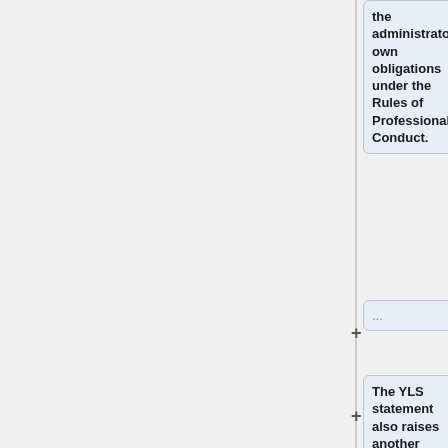the administrators' own obligations under the Rules of Professional Conduct.
...
The YLS statement also raises another problem that has not yet been picked up in even the most extensive accounts of this episode: Does Yale fully comply with its obligations of disclosure regarding her